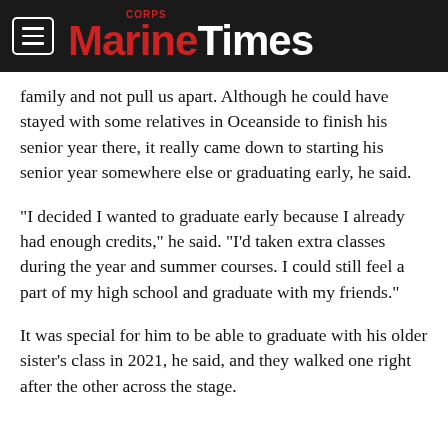Marine Corps Times
family and not pull us apart. Although he could have stayed with some relatives in Oceanside to finish his senior year there, it really came down to starting his senior year somewhere else or graduating early, he said.
“I decided I wanted to graduate early because I already had enough credits,” he said. “I’d taken extra classes during the year and summer courses. I could still feel a part of my high school and graduate with my friends.”
It was special for him to be able to graduate with his older sister’s class in 2021, he said, and they walked one right after the other across the stage.